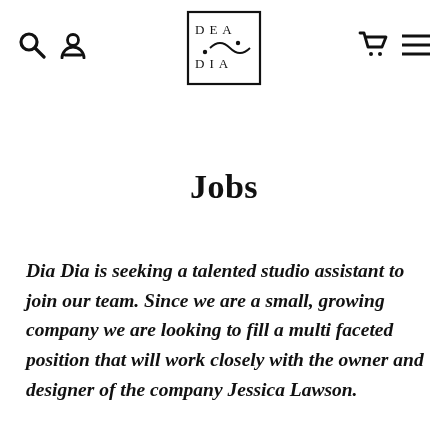DEA DIA logo with search, user, cart, and menu icons
Jobs
Dia Dia is seeking a talented studio assistant to join our team. Since we are a small, growing company we are looking to fill a multi faceted position that will work closely with the owner and designer of the company Jessica Lawson.